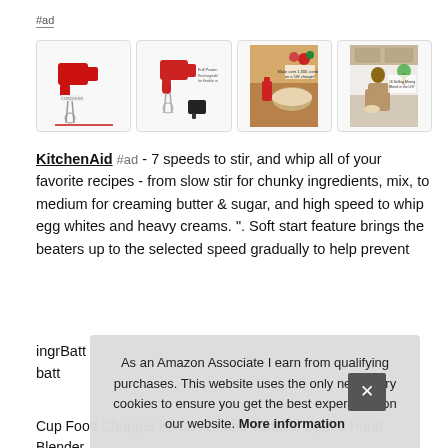#ad
[Figure (photo): Four product images of KitchenAid red hand mixer shown from different angles and in kitchen settings]
KitchenAid #ad - 7 speeds to stir, and whip all of your favorite recipes - from slow stir for chunky ingredients, mix, to medium for creaming butter & sugar, and high speed to whip egg whites and heavy creams. ". Soft start feature brings the beaters up to the selected speed gradually to help prevent ingredients from splashing.
Battery... batt...
Cup Food Chopper KFCB529 and Variable Speed Hand Blender
As an Amazon Associate I earn from qualifying purchases. This website uses the only necessary cookies to ensure you get the best experience on our website. More information